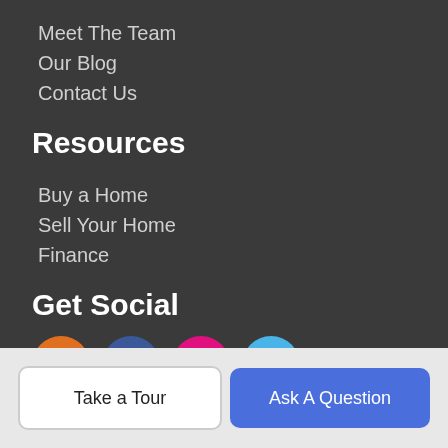Meet The Team
Our Blog
Contact Us
Resources
Buy a Home
Sell Your Home
Finance
Get Social
[Figure (infographic): Four social media icons: RSS (orange), Facebook (dark blue), Instagram (pink), Twitter (light blue)]
About Us
Leonard, Call at Kingston is Kingston Plantation's most innovative
Take a Tour
Ask A Question